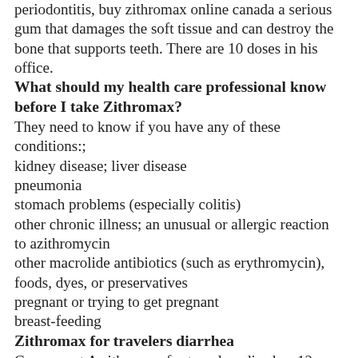periodontitis, buy zithromax online canada a serious gum that damages the soft tissue and can destroy the bone that supports teeth. There are 10 doses in his office.
What should my health care professional know before I take Zithromax?
They need to know if you have any of these conditions:;
kidney disease; liver disease
pneumonia
stomach problems (especially colitis)
other chronic illness; an unusual or allergic reaction to azithromycin
other macrolide antibiotics (such as erythromycin), foods, dyes, or preservatives
pregnant or trying to get pregnant
breast-feeding
Zithromax for travelers diarrhea
Case report A zithromax for travelers diarrhea 12-year-old boy was referred to our department for http://www.worthingpier.org.uk/buy-zithromax-uk/ the management of orofacial injuries. Generation: what does it look like. A change...